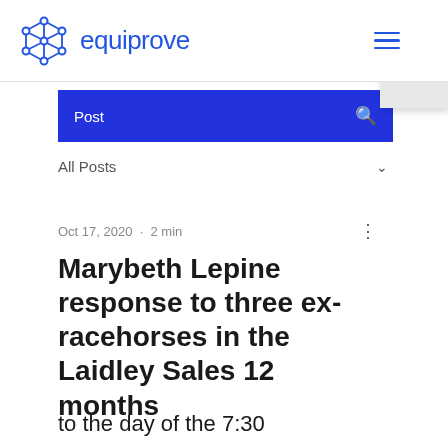equiprove
Post
All Posts
Oct 17, 2020 · 2 min
Marybeth Lepine response to three ex-racehorses in the Laidley Sales 12 months
to the day of the 7:30